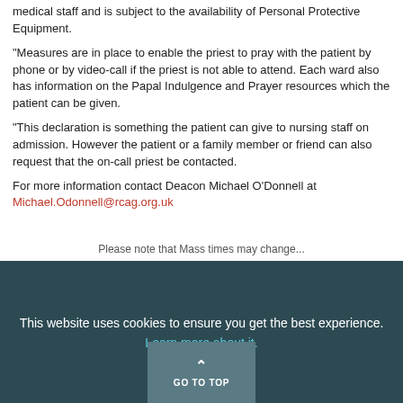medical staff and is subject to the availability of Personal Protective Equipment.
“Measures are in place to enable the priest to pray with the patient by phone or by video-call if the priest is not able to attend. Each ward also has information on the Papal Indulgence and Prayer resources which the patient can be given.
“This declaration is something the patient can give to nursing staff on admission. However the patient or a family member or friend can also request that the on-call priest be contacted.
For more information contact Deacon Michael O’Donnell at Michael.Odonnell@rcag.org.uk
This website uses cookies to ensure you get the best experience. Learn more about it.
GO TO TOP